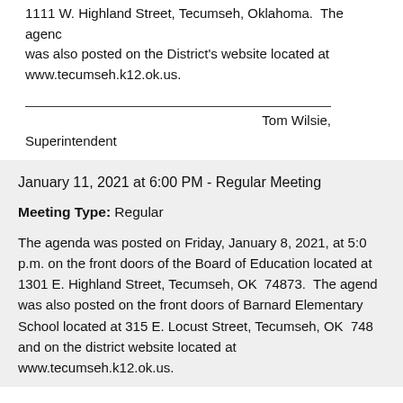1111 W. Highland Street, Tecumseh, Oklahoma.  The agenda was also posted on the District's website located at www.tecumseh.k12.ok.us.
Tom Wilsie, Superintendent
January 11, 2021 at 6:00 PM - Regular Meeting
Meeting Type: Regular
The agenda was posted on Friday, January 8, 2021, at 5:00 p.m. on the front doors of the Board of Education located at 1301 E. Highland Street, Tecumseh, OK  74873.  The agenda was also posted on the front doors of Barnard Elementary School located at 315 E. Locust Street, Tecumseh, OK  748 and on the district website located at www.tecumseh.k12.ok.us.